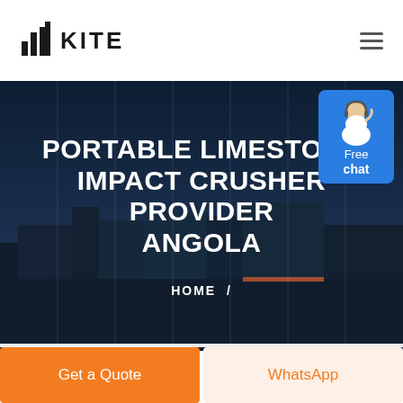[Figure (logo): KITE logo with building/bar chart icon and text 'KITE' in bold]
[Figure (photo): Dark industrial cityscape background with vertical column overlay lines for the hero banner]
PORTABLE LIMESTONE IMPACT CRUSHER PROVIDER ANGOLA
HOME /
[Figure (illustration): Free chat button widget with female customer service avatar and blue background showing 'Free chat' text]
Get a Quote
WhatsApp